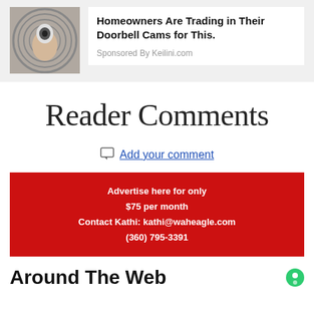[Figure (photo): Advertisement banner with a hand holding a security camera device, white background ad card with headline]
Homeowners Are Trading in Their Doorbell Cams for This.
Sponsored By Keilini.com
Reader Comments
Add your comment
Advertise here for only $75 per month Contact Kathi: kathi@waheagle.com (360) 795-3391
Around The Web